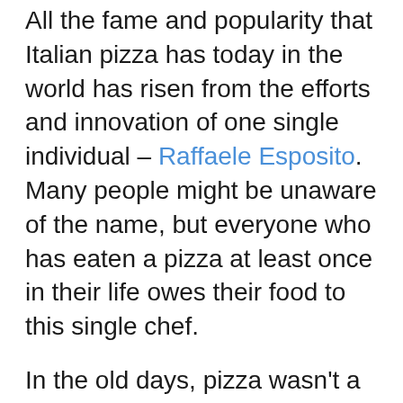All the fame and popularity that Italian pizza has today in the world has risen from the efforts and innovation of one single individual – Raffaele Esposito. Many people might be unaware of the name, but everyone who has eaten a pizza at least once in their life owes their food to this single chef.
In the old days, pizza wasn't a popular food option for the average population and was considered to be the food of the poor and lower-class people. Raffaele combatted this stigma by asking the then Queen of Savoy, Queen Margherita, to prepare a pizza for her, putting his reputation and professional career in a risky gamble.
Well, the gamble paid off because the Queen